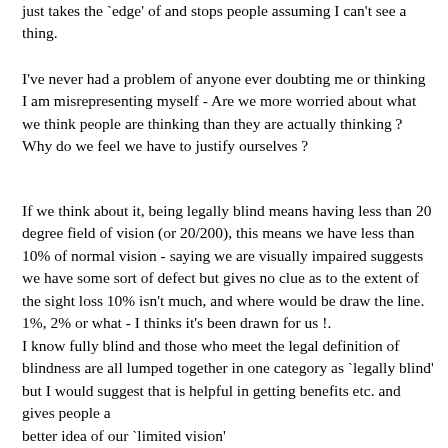just takes the `edge' of and stops people assuming I can't see a thing.
I've never had a problem of anyone ever doubting me or thinking I am misrepresenting myself - Are we more worried about what we think people are thinking than they are actually thinking ? Why do we feel we have to justify ourselves ?
If we think about it, being legally blind means having less than 20 degree field of vision (or 20/200), this means we have less than 10% of normal vision - saying we are visually impaired suggests we have some sort of defect but gives no clue as to the extent of the sight loss 10% isn't much, and where would be draw the line. 1%, 2% or what - I thinks it's been drawn for us !.
I know fully blind and those who meet the legal definition of blindness are all lumped together in one category as `legally blind' but I would suggest that is helpful in getting benefits etc. and gives people a better idea of our `limited vision'